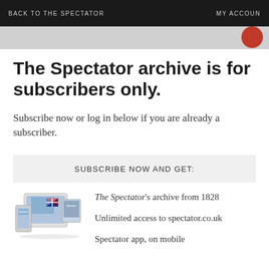BACK TO THE SPECTATOR   MY ACCOUNT
The Spectator archive is for subscribers only.
Subscribe now or log in below if you are already a subscriber.
SUBSCRIBE NOW AND GET:
[Figure (illustration): Devices (tablet, phone, magazine) showing The Spectator publication]
The Spectator's archive from 1828
Unlimited access to spectator.co.uk
Spectator app, on mobile